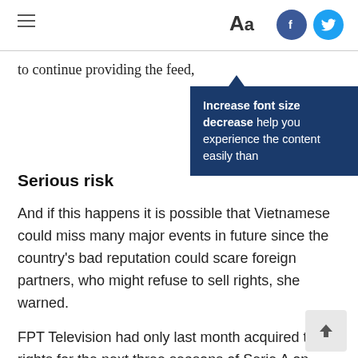Aa  [Facebook] [Twitter]
to continue providing the feed, she said.
[Figure (infographic): Tooltip popup with text: Increase font size decrease help you experience the content easily than]
Serious risk
And if this happens it is possible that Vietnamese could miss many major events in future since the country's bad reputation could scare foreign partners, who might refuse to sell rights, she warned.
FPT Television had only last month acquired the rights for the next three seasons of Serie A on both television and the Internet.
After the first match of the tournament was stolen, the FPT copyright protection unit reported to